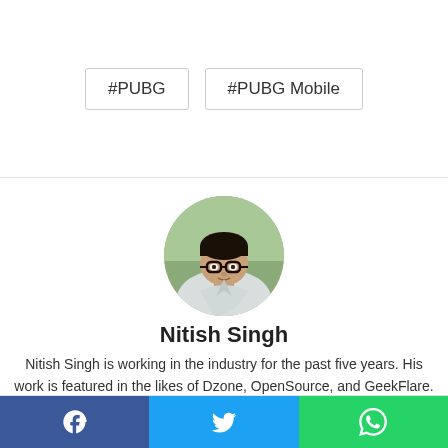#PUBG
#PUBG Mobile
[Figure (photo): Circular profile photo of Nitish Singh, a young man wearing glasses and a white jacket, with a green outdoor background.]
Nitish Singh
Nitish Singh is working in the industry for the past five years. His work is featured in the likes of Dzone, OpenSource, and GeekFlare. He is keen on learning about new technologies and has special interest in
Facebook | Twitter | WhatsApp